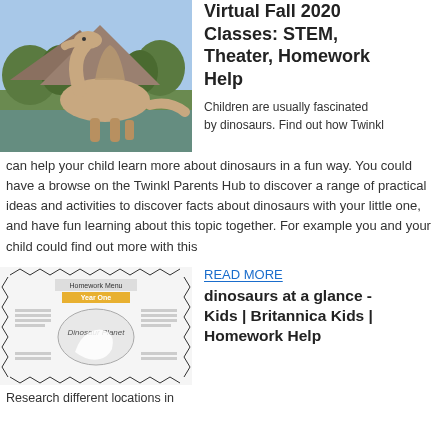[Figure (photo): A large dinosaur (spinosaurus-like) photographed outdoors near water with trees in background]
Virtual Fall 2020 Classes: STEM, Theater, Homework Help
Children are usually fascinated by dinosaurs. Find out how Twinkl can help your child learn more about dinosaurs in a fun way. You could have a browse on the Twinkl Parents Hub to discover a range of practical ideas and activities to discover facts about dinosaurs with your little one, and have fun learning about this topic together. For example you and your child could find out more with this
[Figure (illustration): A worksheet titled 'Homework Menu Year One' with dinosaur planet illustration and a white dinosaur silhouette]
READ MORE
dinosaurs at a glance - Kids | Britannica Kids | Homework Help
Research different locations in